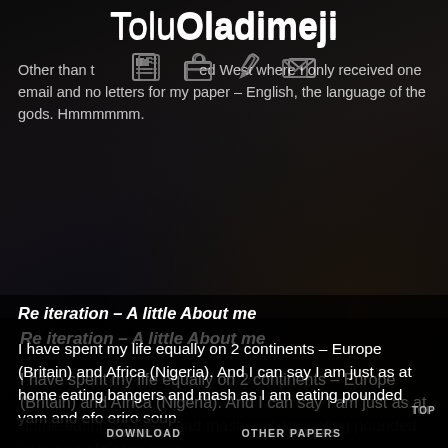ToluOladimeji
Other than that I have lived in the civilised West where I only received one email and no letters for my paper – English, the language of the gods. Hmmmmmm.
Re iteration – A little About me
I have spent my life equally on 2 continents – Europe (Britain) and Africa (Nigeria). And I can say I am just as at home eating bangers and mash as I am eating pounded yam and efo eriro soup.
When I am not pondering the state of the universe lol...in my spare time I love reading ( I could get lost in a good library) even though I am no geek. I also love boxing as a sport. (Mad? Different. lol)
DOWNLOAD   OTHER PAPERS